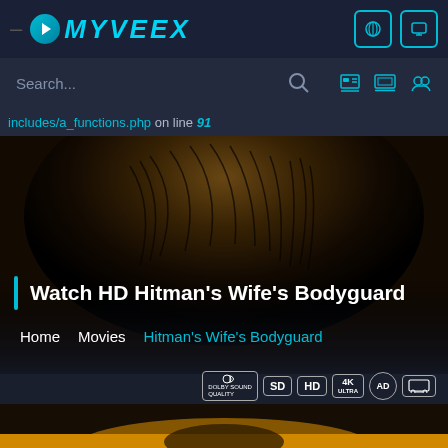MYVEEX — navigation bar with logo
Search...
includes/a_functions.php on line 91
[Figure (photo): Dark blurred hero background showing a person's hair/head silhouette against a dark brown/amber background]
Watch HD Hitman's Wife's Bodyguard
Home   Movies   Hitman's Wife's Bodyguard
[Figure (infographic): Quality badges: Dolby sound quality icon, SD, HD, 4K Ultra, audio description, and cast/screen icon]
[Figure (photo): Bottom strip showing a person's face with orange/amber background — movie thumbnail]